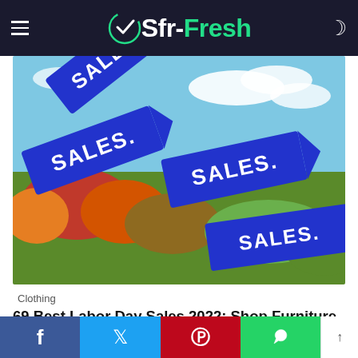Sfr-Fresh
[Figure (photo): Multiple blue price tag signs with 'SALES' text in white, set against a colorful outdoor background with green shrubs, orange flowers, and cloudy sky]
Clothing
69 Best Labor Day Sales 2022: Shop Furniture, TVs, Clothing from Amazon to Wayfair
f  Twitter  P  WhatsApp  ↑